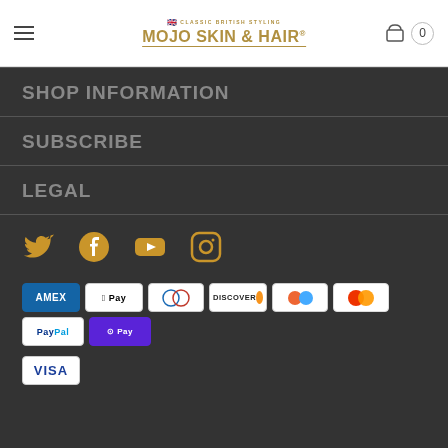Mojo Skin & Hair — Classic British Styling
SHOP INFORMATION
SUBSCRIBE
LEGAL
[Figure (infographic): Social media icons row: Twitter, Facebook, YouTube, Instagram — all in gold/yellow color on dark background]
[Figure (infographic): Payment method badges: American Express, Apple Pay, Diners Club, Discover, Shopify Pay, Mastercard, PayPal, O Pay, Visa]